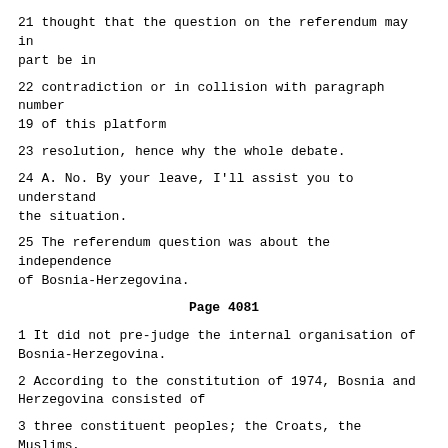21 thought that the question on the referendum may in part be in
22 contradiction or in collision with paragraph number 19 of this platform
23 resolution, hence why the whole debate.
24 A. No. By your leave, I'll assist you to understand the situation.
25 The referendum question was about the independence of Bosnia-Herzegovina.
Page 4081
1 It did not pre-judge the internal organisation of Bosnia-Herzegovina.
2 According to the constitution of 1974, Bosnia and Herzegovina consisted of
3 three constituent peoples; the Croats, the Muslims, and the Serbs, as well
4 as all other citizens. This remained after the referendum. It remained
5 so. This entire process, the Cutileiro Plan, further discussions on
6 continuation all the...